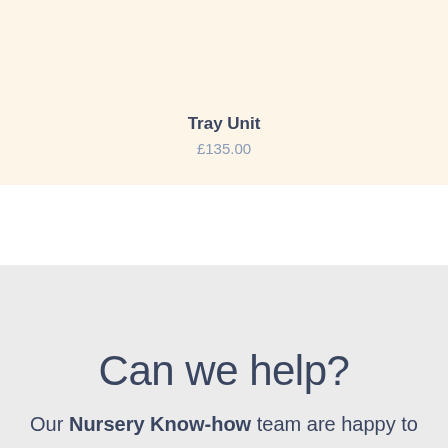Tray Unit
£135.00
Can we help?
Our Nursery Know-how team are happy to